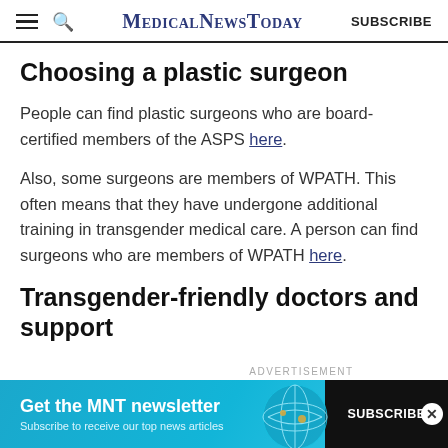MEDICAL NEWS TODAY  SUBSCRIBE
Choosing a plastic surgeon
People can find plastic surgeons who are board-certified members of the ASPS here.
Also, some surgeons are members of WPATH. This often means that they have undergone additional training in transgender medical care. A person can find surgeons who are members of WPATH here.
Transgender-friendly doctors and support
[Figure (other): Advertisement banner for MNT newsletter: 'Get the MNT newsletter — Subscribe to receive our top news articles' with a SUBSCRIBE button and globe graphic.]